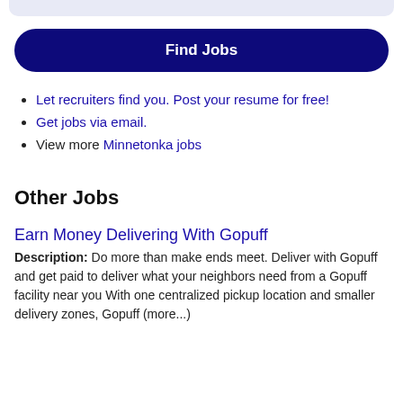[Figure (other): Light blue rounded bar at top of page, partial UI element]
Find Jobs
Let recruiters find you. Post your resume for free!
Get jobs via email.
View more Minnetonka jobs
Other Jobs
Earn Money Delivering With Gopuff
Description: Do more than make ends meet. Deliver with Gopuff and get paid to deliver what your neighbors need from a Gopuff facility near you With one centralized pickup location and smaller delivery zones, Gopuff (more...)